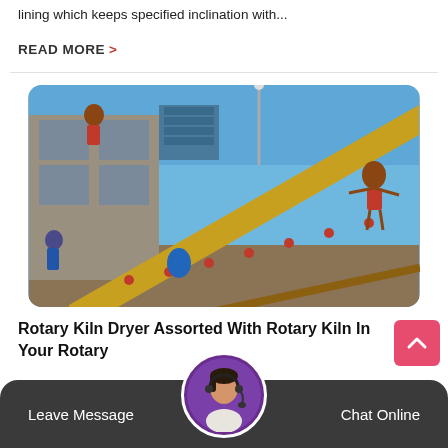lining which keeps specified inclination with...
READ MORE >
[Figure (photo): Construction workers on a sloped conveyor belt/scaffolding structure at a building site under a clear blue sky]
Rotary Kiln Dryer Assorted With Rotary Kiln In Your Rotary
Rotary kiln dryer works on simple principle during the drying process wet materials are sent to the hopper by belt
Leave Message
Chat Online